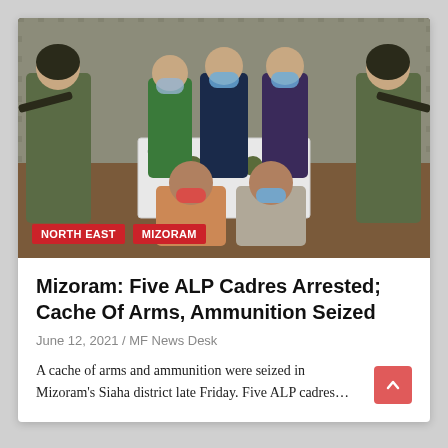[Figure (photo): Military personnel in camouflage uniforms with rifles flanking five masked civilians behind a white table displaying seized weapons and grenades. Two suspects are seated in front on the floor.]
Mizoram: Five ALP Cadres Arrested; Cache Of Arms, Ammunition Seized
June 12, 2021 / MF News Desk
A cache of arms and ammunition were seized in Mizoram's Siaha district late Friday. Five ALP cadres…